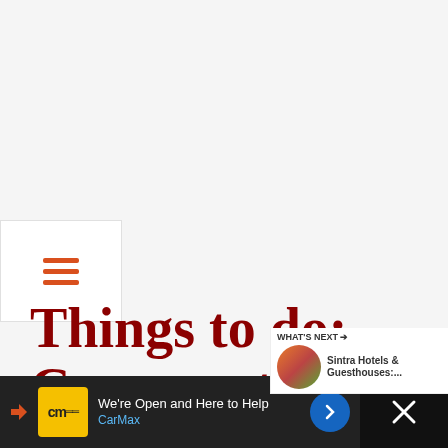[Figure (screenshot): Hamburger menu icon with three orange horizontal lines in a white box]
[Figure (screenshot): Heart/like button (teal circle) with count 5.1K and share button below]
Things to do: Conquer the rugged battlements at C... the Moors
[Figure (screenshot): WHAT'S NEXT panel showing Sintra Hotels & Guesthouses thumbnail and text]
[Figure (screenshot): CarMax advertisement bar at bottom: We're Open and Here to Help, CarMax, with logo and navigation arrow. Close button on right.]